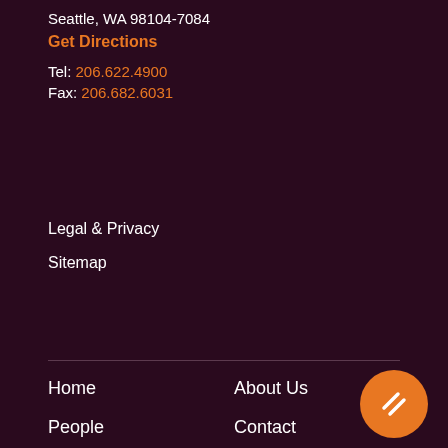Seattle, WA 98104-7084
Get Directions
Tel: 206.622.4900
Fax: 206.682.6031
Legal & Privacy
Sitemap
Home
About Us
People
Contact
Awards
Diversity
Careers
FAQ
News
[Figure (illustration): Orange circular button with two diagonal white stripes]